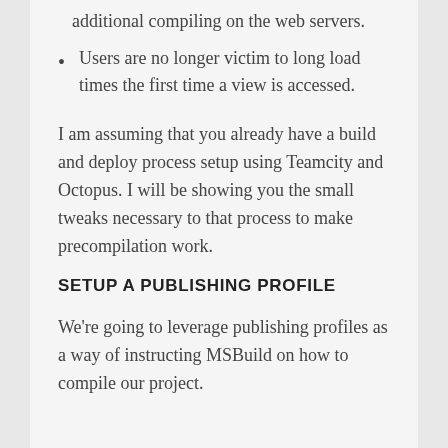additional compiling on the web servers.
Users are no longer victim to long load times the first time a view is accessed.
I am assuming that you already have a build and deploy process setup using Teamcity and Octopus. I will be showing you the small tweaks necessary to that process to make precompilation work.
SETUP A PUBLISHING PROFILE
We’re going to leverage publishing profiles as a way of instructing MSBuild on how to compile our project.